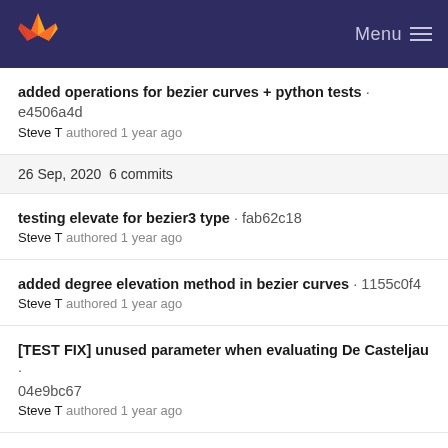Menu
added operations for bezier curves + python tests · e4506a4d
Steve T authored 1 year ago
26 Sep, 2020  6 commits
testing elevate for bezier3 type · fab62c18
Steve T authored 1 year ago
added degree elevation method in bezier curves · 1155c0f4
Steve T authored 1 year ago
[TEST FIX] unused parameter when evaluating De Casteljau · 04e9bc67
Steve T authored 1 year ago
added operator bindings for polynomials · dbde17d3
Steve T authored 1 year ago
added member operators for polynomials + non member